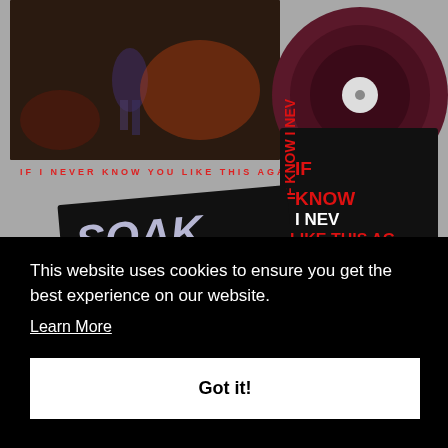[Figure (photo): Product photo showing a vinyl record partially in sleeve with album art 'IF I NEVER KNOW YOU LIKE THIS AGAIN' by SOAK, alongside a black card with red text reading 'IF KNOW I NEV LIKE THIS AG...' The bottom left shows an iridescent 'SOAK' sticker on black background.]
This website uses cookies to ensure you get the best experience on our website.
Learn More
Got it!